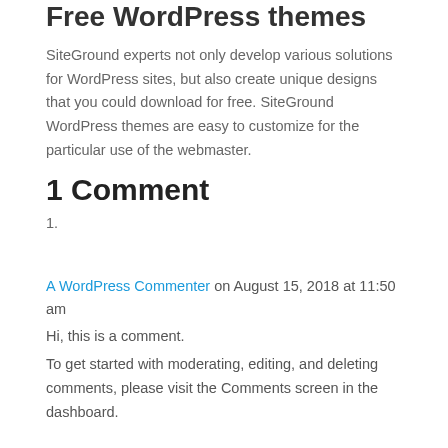Free WordPress themes
SiteGround experts not only develop various solutions for WordPress sites, but also create unique designs that you could download for free. SiteGround WordPress themes are easy to customize for the particular use of the webmaster.
1 Comment
1.
A WordPress Commenter on August 15, 2018 at 11:50 am
Hi, this is a comment.
To get started with moderating, editing, and deleting comments, please visit the Comments screen in the dashboard.